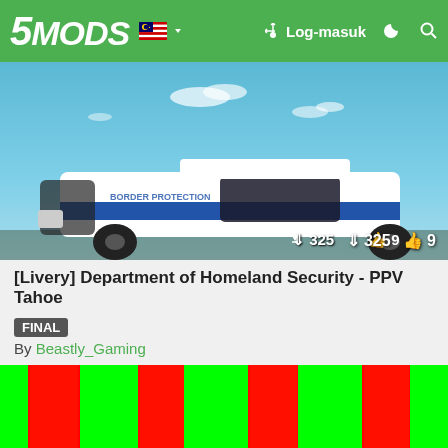5MODS | Log-masuk
[Figure (screenshot): Screenshot of a white SUV with Department of Homeland Security livery, blue stripe on the side, parked outdoors under a blue sky with clouds. Download count: 325, likes: 9.]
[Livery] Department of Homeland Security - PPV Tahoe  FINAL
By Beastly_Gaming
[Figure (other): Green and red vertical stripes pattern (livery preview texture) with an X close button in the bottom right.]